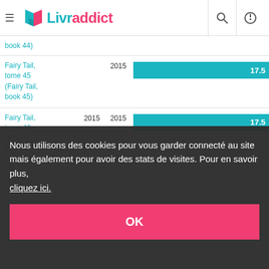Livraddict
book 44)
| Title | Year1 | Year2 | Score |
| --- | --- | --- | --- |
| Fairy Tail, tome 45 (Fairy Tail, book 45) |  | 2015 | 17.5 |
| Fairy Tail, tome 46 (Fairy Tail, book 46) | 2015 | 2015 | 17.5 |
| Fa... to... (F... b... |  |  |  |
| Fa... to... (F... b... |  |  |  |
| Fa... to... (F... b... |  |  |  |
Nous utilisons des cookies pour vous garder connecté au site mais également pour avoir des stats de visites. Pour en savoir plus, cliquez ici.
OK